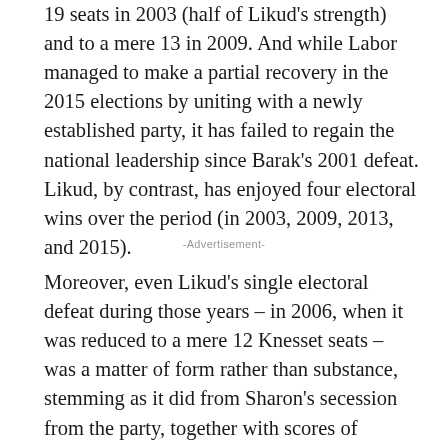19 seats in 2003 (half of Likud's strength) and to a mere 13 in 2009. And while Labor managed to make a partial recovery in the 2015 elections by uniting with a newly established party, it has failed to regain the national leadership since Barak's 2001 defeat. Likud, by contrast, has enjoyed four electoral wins over the period (in 2003, 2009, 2013, and 2015).
-Advertisement-
Moreover, even Likud's single electoral defeat during those years – in 2006, when it was reduced to a mere 12 Knesset seats – was a matter of form rather than substance, stemming as it did from Sharon's secession from the party, together with scores of leading politicians, and the formation of the Kadima Party. Sharon was incapacitated by a stroke shortly before the 2006 elections. But his